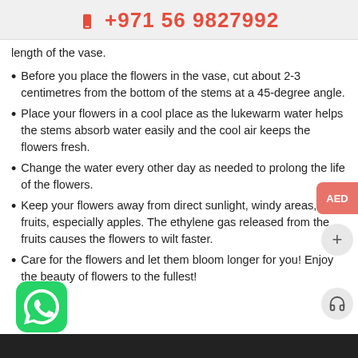+971 56 9827992
length of the vase.
Before you place the flowers in the vase, cut about 2-3 centimetres from the bottom of the stems at a 45-degree angle.
Place your flowers in a cool place as the lukewarm water helps the stems absorb water easily and the cool air keeps the flowers fresh.
Change the water every other day as needed to prolong the life of the flowers.
Keep your flowers away from direct sunlight, windy areas, and fruits, especially apples. The ethylene gas released from the fruits causes the flowers to wilt faster.
Care for the flowers and let them bloom longer for you! Enjoy the beauty of flowers to the fullest!
[Figure (logo): WhatsApp logo icon - green rounded square with white phone handset]
[Figure (other): AED currency selector button]
[Figure (other): Plus/add button]
[Figure (other): Headset/support button]